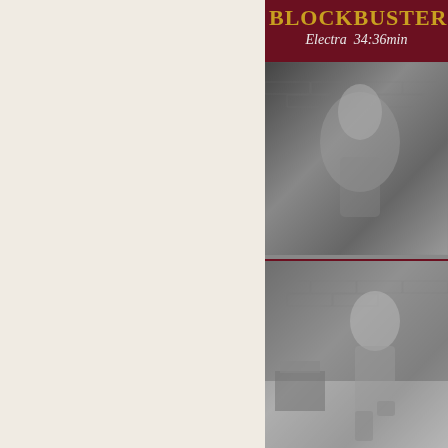BLOCKBUSTER
Electra  34:36min
[Figure (photo): Black and white photograph showing a bound woman in rope bondage against a brick wall background, upper body close-up]
[Figure (photo): Black and white photograph showing a bound woman in rope bondage seated on a stool in a room with brick wall and wooden furniture]